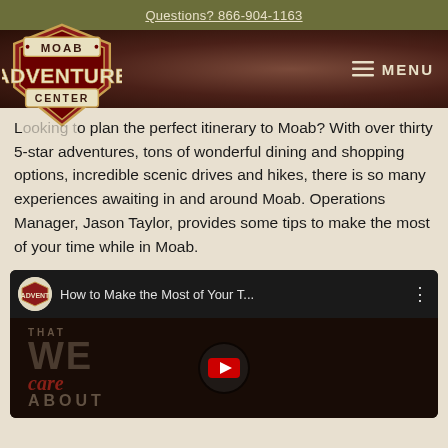Questions? 866-904-1163
[Figure (logo): Moab Adventure Center logo — shield shape with MOAB on top, ADVENTURE in large text, CENTER below]
Looking to plan the perfect itinerary to Moab? With over thirty 5-star adventures, tons of wonderful dining and shopping options, incredible scenic drives and hikes, there is so many experiences awaiting in and around Moab. Operations Manager, Jason Taylor, provides some tips to make the most of your time while in Moab.
[Figure (screenshot): YouTube video embed: 'How to Make the Most of Your T...' with Moab Adventure Center channel icon. Video preview shows dark background with large text 'THAT WE' and italic 'care' and 'ABOUT' with YouTube play button overlay.]